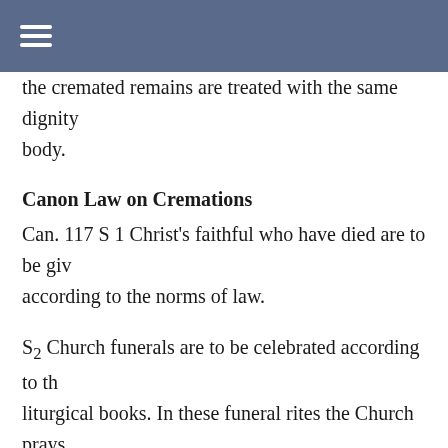☰
the cremated remains are treated with the same dignity body.
Canon Law on Cremations
Can. 117 S 1 Christ's faithful who have died are to be given according to the norms of law.
S2 Church funerals are to be celebrated according to the liturgical books. In these funeral rites the Church prays support of the dead, it honors their bodies, and at the sa the living the comfort of hope.
S3 The Church earnestly recommends that the pious